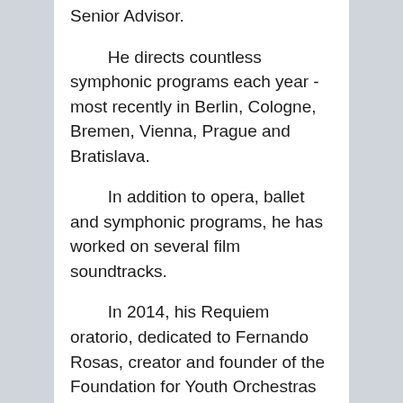Senior Advisor.
He directs countless symphonic programs each year - most recently in Berlin, Cologne, Bremen, Vienna, Prague and Bratislava.
In addition to opera, ballet and symphonic programs, he has worked on several film soundtracks.
In 2014, his Requiem oratorio, dedicated to Fernando Rosas, creator and founder of the Foundation for Youth Orchestras of Chile,